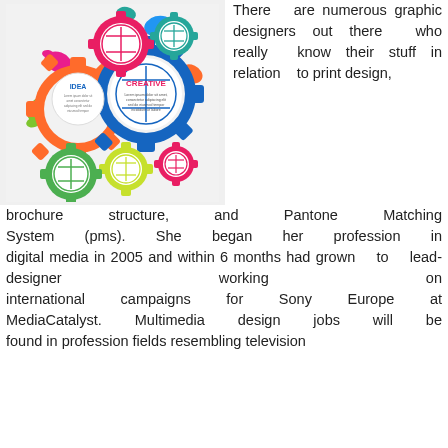[Figure (infographic): Colorful infographic with interlocking gears in orange, blue, pink, green, yellow, and teal colors with colorful paint splashes. Two gears have white circles with text: 'IDEA' and 'CREATIVE'.]
There are numerous graphic designers out there who really know their stuff in relation to print design, brochure structure, and Pantone Matching System (pms). She began her profession in digital media in 2005 and within 6 months had grown to lead-designer working on international campaigns for Sony Europe at MediaCatalyst. Multimedia design jobs will be found in profession fields resembling television